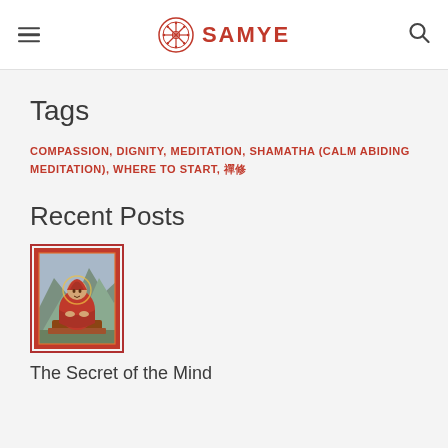SAMYE (logo with hamburger menu and search icon)
Tags
COMPASSION, DIGNITY, MEDITATION, SHAMATHA (CALM ABIDING MEDITATION), WHERE TO START, 禪修
Recent Posts
[Figure (illustration): Thangka painting thumbnail showing a Tibetan Buddhist figure in red robes seated on a throne, with mountains in the background, framed with a red border.]
The Secret of the Mind